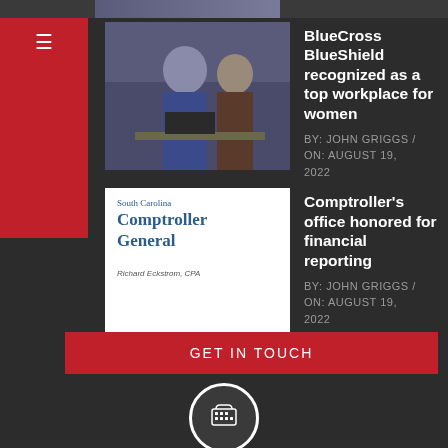[Figure (photo): Partial top strip showing a cropped photo]
[Figure (photo): Photo of two women at a computer, workplace setting]
BlueCross BlueShield recognized as a top workplace for women
BY: JOHN GRIGGS / ON: AUGUST 19, 2022
[Figure (photo): South Carolina Comptroller General book cover by Richard Eckstrom, CPA]
Comptroller's office honored for financial reporting
BY: JOHN GRIGGS / ON: AUGUST 19, 2022
GET IN TOUCH
[Figure (illustration): Phone/TTY icon inside a white circle]
Call Us
We'd love to hear from you. We can be reached at 803.772.7506. You can email us @ jrmonews@aol.com